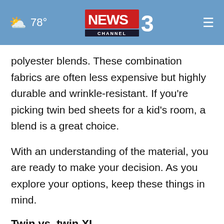78° NEWS 3 CHANNEL WREG MEMPHIS
polyester blends. These combination fabrics are often less expensive but highly durable and wrinkle-resistant. If you're picking twin bed sheets for a kid's room, a blend is a great choice.
With an understanding of the material, you are ready to make your decision. As you explore your options, keep these things in mind.
Twin vs. twin XL
A crucial measurement to have is that of your twin bed. There are two types of twin beds: the standard twin bed and the twin XL. Make sure you know which